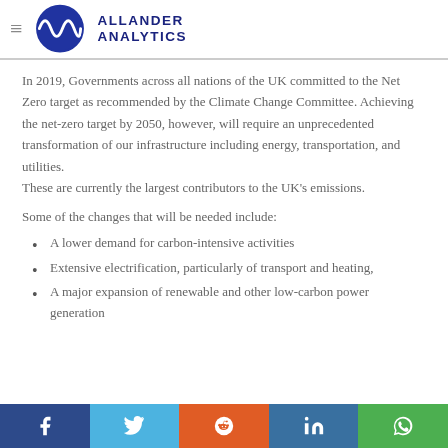Allander Analytics
In 2019, Governments across all nations of the UK committed to the Net Zero target as recommended by the Climate Change Committee. Achieving the net-zero target by 2050, however, will require an unprecedented transformation of our infrastructure including energy, transportation, and utilities. These are currently the largest contributors to the UK's emissions.
Some of the changes that will be needed include:
A lower demand for carbon-intensive activities
Extensive electrification, particularly of transport and heating,
A major expansion of renewable and other low-carbon power generation
Facebook | Twitter | Reddit | LinkedIn | WhatsApp